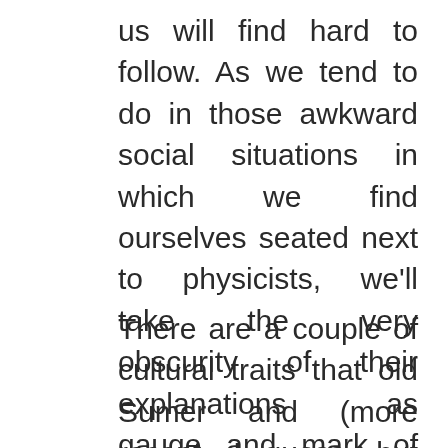us will find hard to follow. As we tend to do in those awkward social situations in which we find ourselves seated next to physicists, we'll take the very obscurity of their explanations as gauge and mark of their brilliance.
There are a couple of cultural traits that old Sumer and (more recent, I guess, but anyway) old Tibet held in common. One is